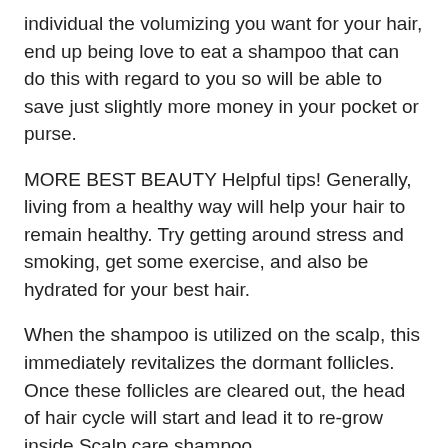individual the volumizing you want for your hair, end up being love to eat a shampoo that can do this with regard to you so will be able to save just slightly more money in your pocket or purse.
MORE BEST BEAUTY Helpful tips! Generally, living from a healthy way will help your hair to remain healthy. Try getting around stress and smoking, get some exercise, and also be hydrated for your best hair.
When the shampoo is utilized on the scalp, this immediately revitalizes the dormant follicles. Once these follicles are cleared out, the head of hair cycle will start and lead it to re-grow inside Scalp care shampoo.